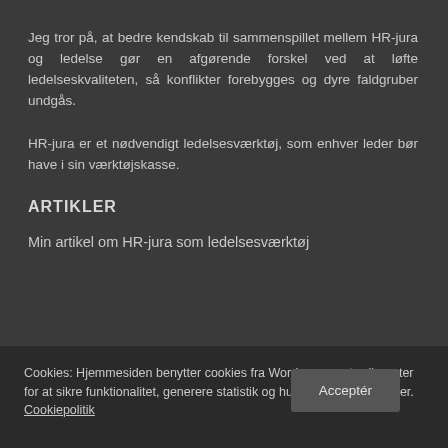Jeg tror på, at bedre kendskab til sammenspillet mellem HR-jura og ledelse gør en afgørende forskel ved at løfte ledelseskvaliteten, så konflikter forebygges og dyre faldgruber undgås.
HR-jura er et nødvendigt ledelsesværktøj, som enhver leder bør have i sin værktøjskasse.
ARTIKLER
Min artikel om HR-jura som ledelsesværktøj
Cookies: Hjemmesiden benytter cookies fra Wordpress og tredjeparter for at sikre funktionalitet, generere statistik og huske dine præferencer.
Cookiepolitik
Acceptér